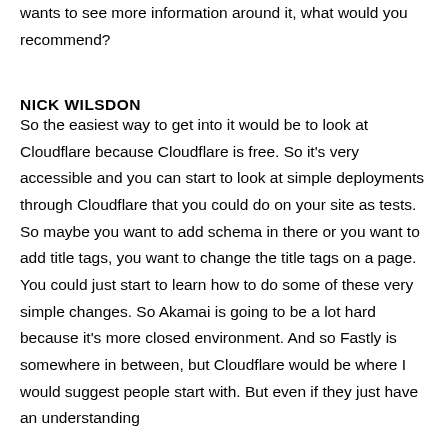wants to see more information around it, what would you recommend?
NICK WILSDON
So the easiest way to get into it would be to look at Cloudflare because Cloudflare is free. So it's very accessible and you can start to look at simple deployments through Cloudflare that you could do on your site as tests. So maybe you want to add schema in there or you want to add title tags, you want to change the title tags on a page. You could just start to learn how to do some of these very simple changes. So Akamai is going to be a lot hard because it's more closed environment. And so Fastly is somewhere in between, but Cloudflare would be where I would suggest people start with. But even if they just have an understanding